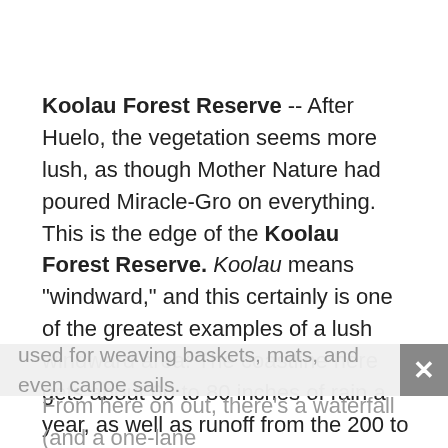Koolau Forest Reserve -- After Huelo, the vegetation seems more lush, as though Mother Nature had poured Miracle-Gro on everything. This is the edge of the Koolau Forest Reserve. Koolau means "windward," and this certainly is one of the greatest examples of a lush windward area: The coastline here gets about 60 to 80 inches of rain a year, as well as runoff from the 200 to 300 inches that falls from farther up the mountain. You'll see trees laden with guavas, as well as mangoes, java plums, and avocados the size of softballs. The spiny, long-leafed plants are hala trees, which the Hawaiians used for weaving baskets, mats, and even canoe sails.
From here on out, there's a waterfall (and a one-lane